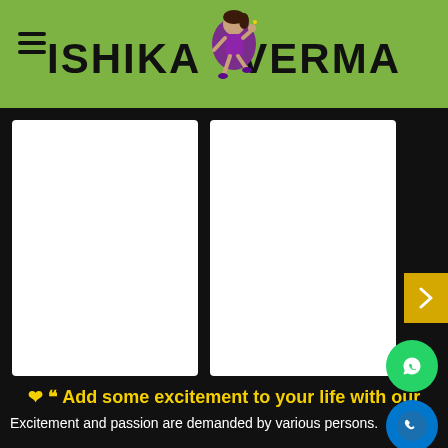ISHIKA VERMA
[Figure (photo): Two white gallery/photo cards side by side on a dark background with a yellow next arrow button on the right]
❤ ❝ Add some excitement to your life with our stunning Mamjong escorts wo... ❞❤
Excitement and passion are demanded by various persons.